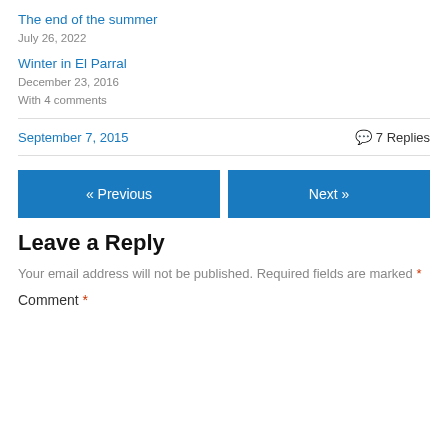The end of the summer
July 26, 2022
Winter in El Parral
December 23, 2016
With 4 comments
September 7, 2015
7 Replies
« Previous
Next »
Leave a Reply
Your email address will not be published. Required fields are marked *
Comment *